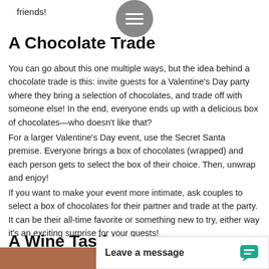friends!
[Figure (other): Gray circular hamburger/menu button with three white horizontal lines]
A Chocolate Trade
You can go about this one multiple ways, but the idea behind a chocolate trade is this: invite guests for a Valentine's Day party where they bring a selection of chocolates, and trade off with someone else! In the end, everyone ends up with a delicious box of chocolates—who doesn't like that?
For a larger Valentine's Day event, use the Secret Santa premise. Everyone brings a box of chocolates (wrapped) and each person gets to select the box of their choice. Then, unwrap and enjoy!
If you want to make your event more intimate, ask couples to select a box of chocolates for their partner and trade at the party. It can be their all-time favorite or something new to try, either way it's an exciting surprise for your guests!
A Wine Tasting
Leave a message
[Figure (illustration): Green chat bubble icon]